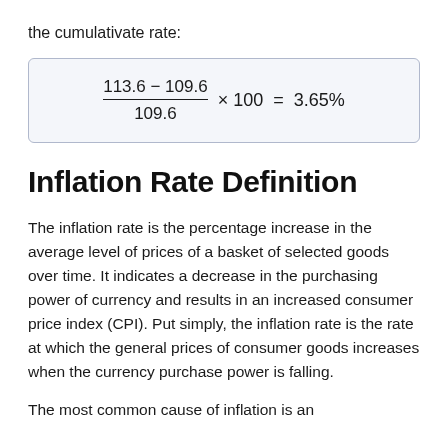the cumulativate rate:
Inflation Rate Definition
The inflation rate is the percentage increase in the average level of prices of a basket of selected goods over time. It indicates a decrease in the purchasing power of currency and results in an increased consumer price index (CPI). Put simply, the inflation rate is the rate at which the general prices of consumer goods increases when the currency purchase power is falling.
The most common cause of inflation is an